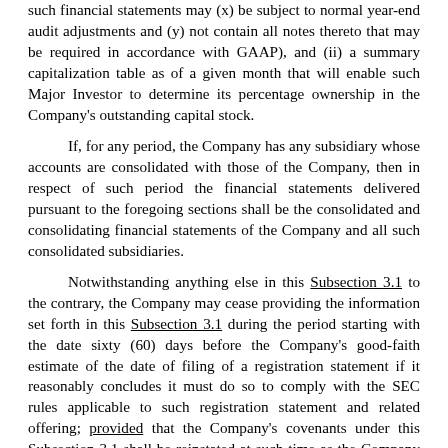such financial statements may (x) be subject to normal year-end audit adjustments and (y) not contain all notes thereto that may be required in accordance with GAAP), and (ii) a summary capitalization table as of a given month that will enable such Major Investor to determine its percentage ownership in the Company's outstanding capital stock.
If, for any period, the Company has any subsidiary whose accounts are consolidated with those of the Company, then in respect of such period the financial statements delivered pursuant to the foregoing sections shall be the consolidated and consolidating financial statements of the Company and all such consolidated subsidiaries.
Notwithstanding anything else in this Subsection 3.1 to the contrary, the Company may cease providing the information set forth in this Subsection 3.1 during the period starting with the date sixty (60) days before the Company's good-faith estimate of the date of filing of a registration statement if it reasonably concludes it must do so to comply with the SEC rules applicable to such registration statement and related offering; provided that the Company's covenants under this Subsection 3.1 shall be reinstated at such time as the Company is no longer actively employing its commercially reasonable efforts to cause such registration statement to become effective.